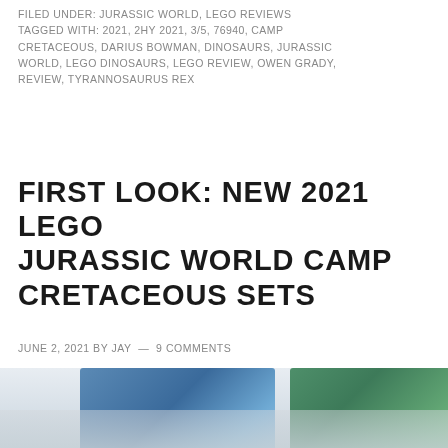FILED UNDER: JURASSIC WORLD, LEGO REVIEWS
TAGGED WITH: 2021, 2HY 2021, 3/5, 76940, CAMP CRETACEOUS, DARIUS BOWMAN, DINOSAURS, JURASSIC WORLD, LEGO DINOSAURS, LEGO REVIEW, OWEN GRADY, REVIEW, TYRANNOSAURUS REX
FIRST LOOK: NEW 2021 LEGO JURASSIC WORLD CAMP CRETACEOUS SETS
JUNE 2, 2021 BY JAY — 9 COMMENTS
[Figure (photo): Multiple LEGO Jurassic World Camp Cretaceous set boxes displayed alongside dinosaur toy figures including a carnotaurus and baby dinosaurs]